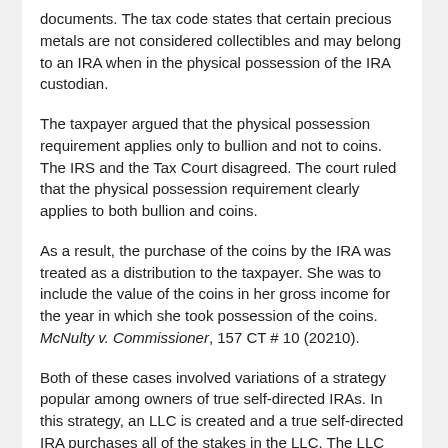documents. The tax code states that certain precious metals are not considered collectibles and may belong to an IRA when in the physical possession of the IRA custodian.
The taxpayer argued that the physical possession requirement applies only to bullion and not to coins. The IRS and the Tax Court disagreed. The court ruled that the physical possession requirement clearly applies to both bullion and coins.
As a result, the purchase of the coins by the IRA was treated as a distribution to the taxpayer. She was to include the value of the coins in her gross income for the year in which she took possession of the coins. McNulty v. Commissioner, 157 CT # 10 (20210).
Both of these cases involved variations of a strategy popular among owners of true self-directed IRAs. In this strategy, an LLC is created and a true self-directed IRA purchases all of the stakes in the LLC. The LLC establishes a financial account or a checking account.